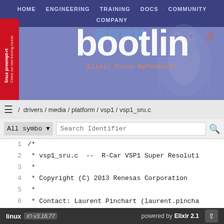[Figure (screenshot): Bootlin website header with navigation bar (HOME, ENGINEERING, TRAINING, DOCS, COMMUNITY, COMPANY), bootlin logo in white on purple/blue background, Elixir Cross Referencer subtitle in orange monospace, social media icons, penguin mascot illustration, and red sidebar with 'linux preempt-rt' vertical text]
/ drivers / media / platform / vsp1 / vsp1_sru.c
All symbo ▾   Search Identifier
1   /*
2    * vsp1_sru.c  --  R-Car VSP1 Super Resoluti
3    *
4    * Copyright (C) 2013 Renesas Corporation
5    *
6    * Contact: Laurent Pinchart (laurent.pincha
7    *
8    * This
linux  v3.18.77   powered by Elixir 2.1